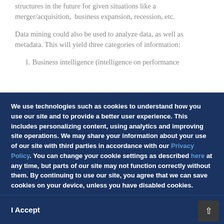structures in the future for given situations like a merger/acquisition,  business expansion, recession, etc.
Data mining could also be used to analyze data, as well as metadata. This will yield three categories of information:
1. Business intelligence (intelligence on performance
We use technologies such as cookies to understand how you use our site and to provide a better user experience. This includes personalizing content, using analytics and improving site operations. We may share your information about your use of our site with third parties in accordance with our Privacy Policy. You can change your cookie settings as described here at any time, but parts of our site may not function correctly without them. By continuing to use our site, you agree that we can save cookies on your device, unless you have disabled cookies.
I Accept